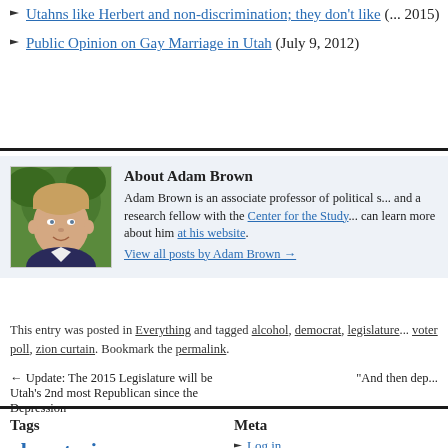Utahns like Herbert and non-discrimination; they don't like... 2015)
Public Opinion on Gay Marriage in Utah (July 9, 2012)
About Adam Brown
Adam Brown is an associate professor of political s... and a research fellow with the Center for the Study... can learn more about him at his website.
View all posts by Adam Brown →
This entry was posted in Everything and tagged alcohol, democrat, legislature... voter poll, zion curtain. Bookmark the permalink.
← Update: The 2015 Legislature will be Utah's 2nd most Republican since the Depression
"And then dep...
Tags
absenteeism  approval ratings
Meta
Log in
Entries feed